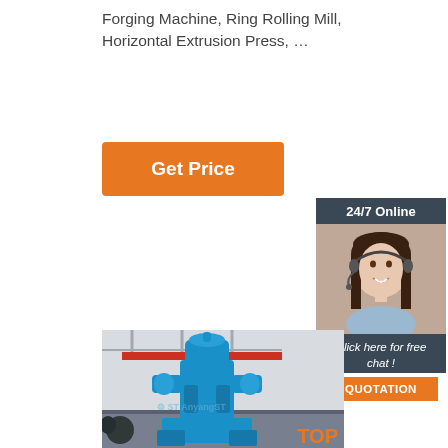Forging Machine, Ring Rolling Mill, Horizontal Extrusion Press, …
[Figure (other): Orange 'Get Price' button]
[Figure (photo): 24/7 online customer service chat widget with a woman wearing a headset, with 'Click here for free chat!' text and 'QUOTATION' orange button]
[Figure (photo): Blue industrial forging machine in a factory, with Anyang ST watermark logo at the bottom and a TOP badge at lower right]